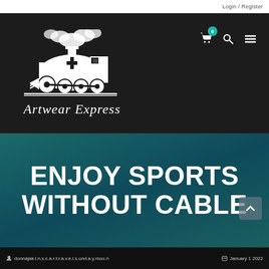Login / Register
[Figure (logo): Artwear Express logo featuring a steam locomotive with a cross on the front, in white on black background, with italic serif text 'Artwear Express' below]
ENJOY SPORTS WITHOUT CABLE
donnajak.i.n.s.c.a.r.t.r.a.v.e.l.s.und.a.y.moo.n   January 1 2022